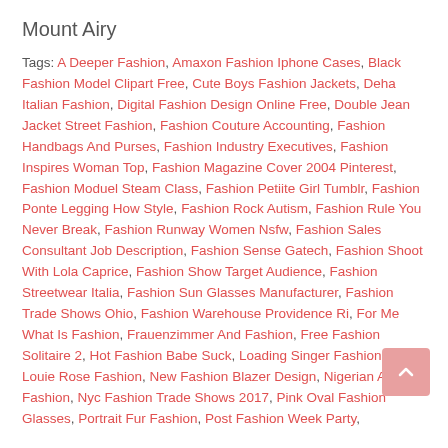Mount Airy
Tags: A Deeper Fashion, Amaxon Fashion Iphone Cases, Black Fashion Model Clipart Free, Cute Boys Fashion Jackets, Deha Italian Fashion, Digital Fashion Design Online Free, Double Jean Jacket Street Fashion, Fashion Couture Accounting, Fashion Handbags And Purses, Fashion Industry Executives, Fashion Inspires Woman Top, Fashion Magazine Cover 2004 Pinterest, Fashion Moduel Steam Class, Fashion Petiite Girl Tumblr, Fashion Ponte Legging How Style, Fashion Rock Autism, Fashion Rule You Never Break, Fashion Runway Women Nsfw, Fashion Sales Consultant Job Description, Fashion Sense Gatech, Fashion Shoot With Lola Caprice, Fashion Show Target Audience, Fashion Streetwear Italia, Fashion Sun Glasses Manufacturer, Fashion Trade Shows Ohio, Fashion Warehouse Providence Ri, For Me What Is Fashion, Frauenzimmer And Fashion, Free Fashion Solitaire 2, Hot Fashion Babe Suck, Loading Singer Fashion Mate, Louie Rose Fashion, New Fashion Blazer Design, Nigerian Ankara Fashion, Nyc Fashion Trade Shows 2017, Pink Oval Fashion Glasses, Portrait Fur Fashion, Post Fashion Week Party,